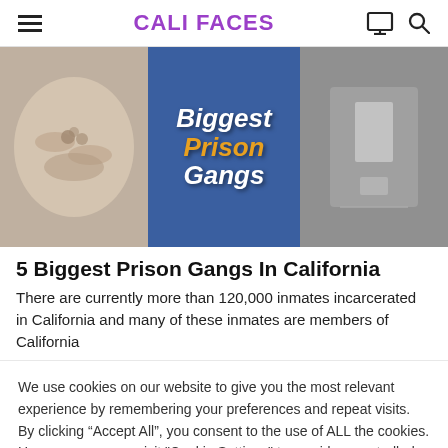CALI FACES
[Figure (photo): Three-panel hero image: left panel shows hands making a gesture (grayscale/light tones), center panel shows text 'Biggest Prison Gangs' on a blue background with orange and white bold italic text, right panel shows a black and white photo of a person holding items]
5 Biggest Prison Gangs In California
There are currently more than 120,000 inmates incarcerated in California and many of these inmates are members of California
We use cookies on our website to give you the most relevant experience by remembering your preferences and repeat visits. By clicking “Accept All”, you consent to the use of ALL the cookies. However, you may visit "Cookie Settings" to provide a controlled consent.